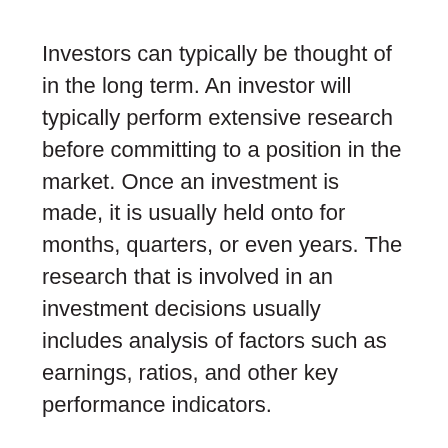Investors can typically be thought of in the long term. An investor will typically perform extensive research before committing to a position in the market. Once an investment is made, it is usually held onto for months, quarters, or even years. The research that is involved in an investment decisions usually includes analysis of factors such as earnings, ratios, and other key performance indicators.
A trader on the other hand typically does not look as closely at the fundamentals of a company. Many traders will openly admit that they in fact have little information on the company at all when they make a decision on